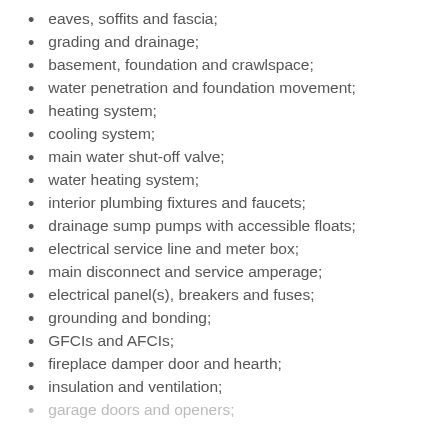eaves, soffits and fascia;
grading and drainage;
basement, foundation and crawlspace;
water penetration and foundation movement;
heating system;
cooling system;
main water shut-off valve;
water heating system;
interior plumbing fixtures and faucets;
drainage sump pumps with accessible floats;
electrical service line and meter box;
main disconnect and service amperage;
electrical panel(s), breakers and fuses;
grounding and bonding;
GFCIs and AFCIs;
fireplace damper door and hearth;
insulation and ventilation;
garage doors and openers;